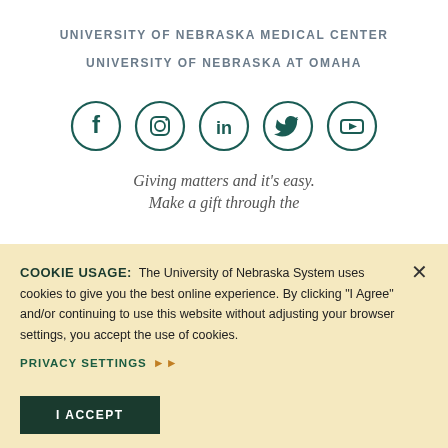UNIVERSITY OF NEBRASKA MEDICAL CENTER
UNIVERSITY OF NEBRASKA AT OMAHA
[Figure (infographic): Five social media icons in teal circles: Facebook, Instagram, LinkedIn, Twitter, YouTube]
Giving matters and it's easy.
Make a gift through the
COOKIE USAGE: The University of Nebraska System uses cookies to give you the best online experience. By clicking "I Agree" and/or continuing to use this website without adjusting your browser settings, you accept the use of cookies.
PRIVACY SETTINGS ▶▶
I ACCEPT